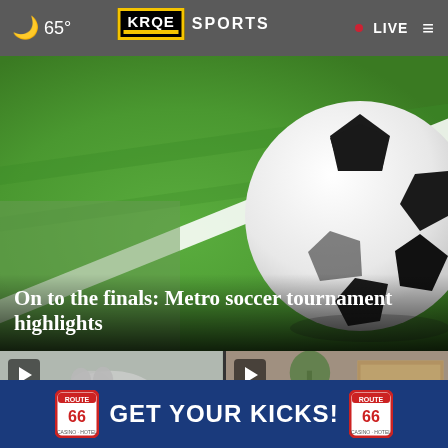🌙 65° | KRQE SPORTS | • LIVE
[Figure (photo): Close-up photo of a soccer ball on green grass field with a white line visible, taken from a low angle. The ball is on the right side of the image.]
On to the finals: Metro soccer tournament highlights
[Figure (photo): Thumbnail video still showing a white animal (dog/cat) with a play button overlay in the top left corner.]
[Figure (photo): Thumbnail video still showing a storefront (Giovanni's) with a play button overlay in the top left corner and a close (x) button.]
[Figure (infographic): Advertisement banner for Route 66 Casino Hotel reading GET YOUR KICKS! with Route 66 shield logo on both sides on a dark blue background.]